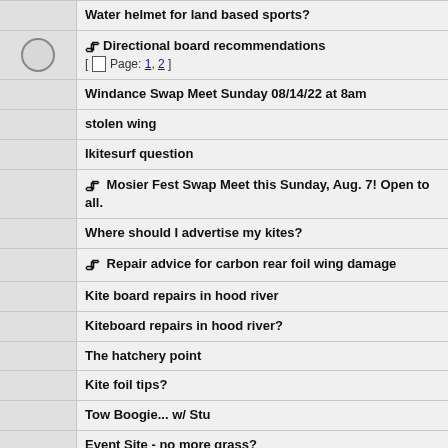Water helmet for land based sports?
Directional board recommendations [ Page: 1, 2 ]
Windance Swap Meet Sunday 08/14/22 at 8am
stolen wing
Ikitesurf question
Mosier Fest Swap Meet this Sunday, Aug. 7! Open to all.
Where should I advertise my kites?
Repair advice for carbon rear foil wing damage
Kite board repairs in hood river
Kiteboard repairs in hood river?
The hatchery point
Kite foil tips?
Tow Boogie... w/ Stu
Event Site - no more grass?
BOTG and The Blowout July 15th-17th